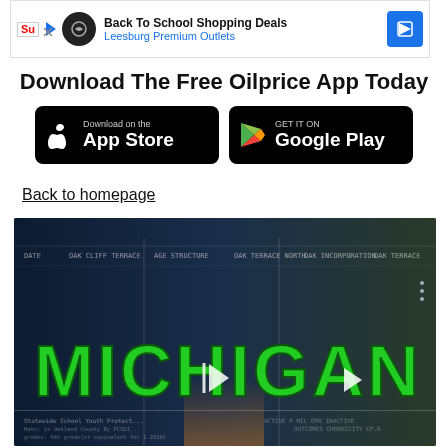[Figure (screenshot): Advertisement banner for Back To School Shopping Deals at Leesburg Premium Outlets]
Download The Free Oilprice App Today
[Figure (screenshot): App Store and Google Play download buttons on black rounded rectangles]
Back to homepage
[Figure (screenshot): Video thumbnail showing the word MICHIGAN in large green letters on a dark blue data visualization background with play controls]